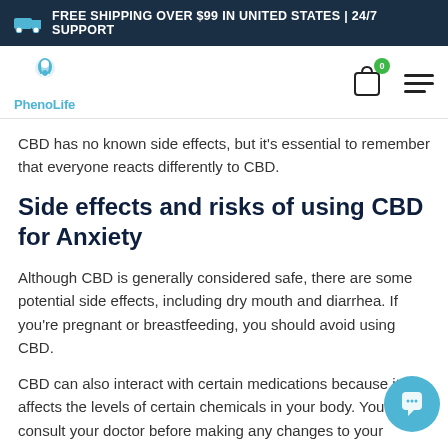FREE SHIPPING OVER $99 IN UNITED STATES | 24/7 SUPPORT
[Figure (logo): PhenoLife logo: teal leaf/person icon above text 'PhenoLife']
CBD has no known side effects, but it's essential to remember that everyone reacts differently to CBD.
Side effects and risks of using CBD for Anxiety
Although CBD is generally considered safe, there are some potential side effects, including dry mouth and diarrhea. If you're pregnant or breastfeeding, you should avoid using CBD.
CBD can also interact with certain medications because it affects the levels of certain chemicals in your body. You must consult your doctor before making any changes to your current medication routine if you're taking prescription drugs.